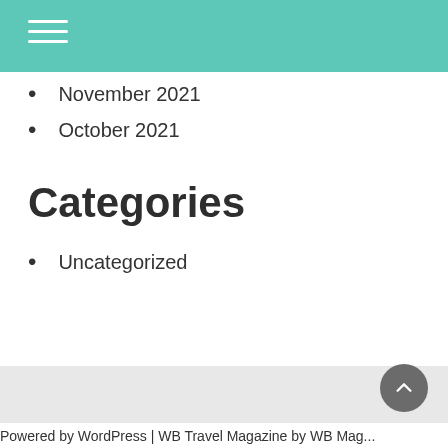November 2021
October 2021
Categories
Uncategorized
Powered by WordPress | WB Travel Magazine by WB Mag...